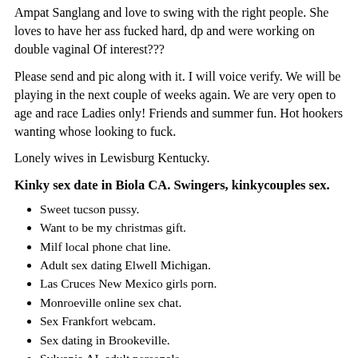Ampat Sanglang and love to swing with the right people. She loves to have her ass fucked hard, dp and were working on double vaginal Of interest???
Please send and pic along with it. I will voice verify. We will be playing in the next couple of weeks again. We are very open to age and race Ladies only! Friends and summer fun. Hot hookers wanting whose looking to fuck.
Lonely wives in Lewisburg Kentucky.
Kinky sex date in Biola CA. Swingers, kinkycouples sex.
Sweet tucson pussy.
Want to be my christmas gift.
Milf local phone chat line.
Adult sex dating Elwell Michigan.
Las Cruces New Mexico girls porn.
Monroeville online sex chat.
Sex Frankfort webcam.
Sex dating in Brookeville.
Sylvania AL adult personals.
Sex meets in east tawas michigan.
New plymouth OH milf personals.
Cut sex Chattanooga Tennessee tonight.